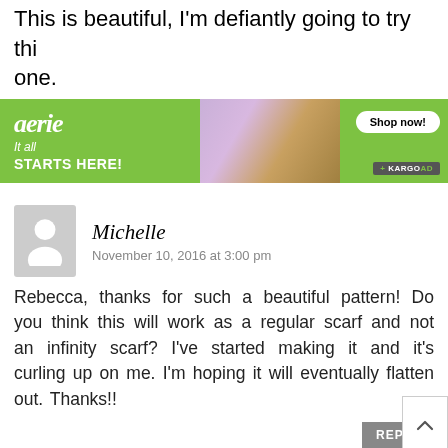This is beautiful, I'm defiantly going to try this one.
[Figure (other): Aerie brand advertisement banner with green background, 'It all STARTS HERE!' text, woman photo, and Shop now button with KARGO AD label]
Michelle
November 10, 2016 at 3:00 pm
Rebecca, thanks for such a beautiful pattern! Do you think this will work as a regular scarf and not an infinity scarf? I've started making it and it's curling up on me. I'm hoping it will eventually flatten out. Thanks!!
REPLY
Rebecca